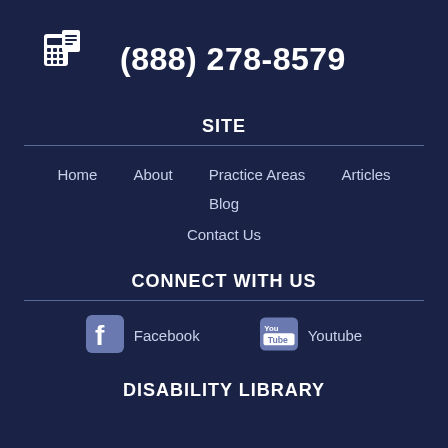[Figure (other): Fax/phone device icon in white]
(888) 278-8579
SITE
Home
About
Practice Areas
Articles
Blog
Contact Us
CONNECT WITH US
[Figure (logo): Facebook icon]
Facebook
[Figure (logo): YouTube icon]
Youtube
DISABILITY LIBRARY